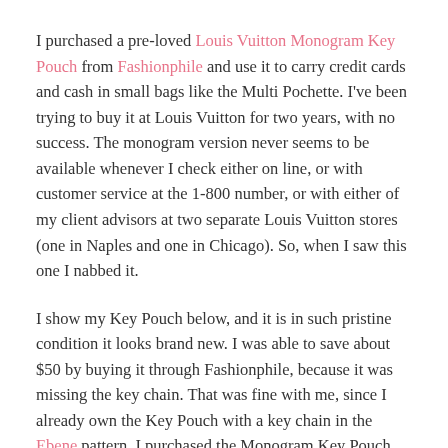I purchased a pre-loved Louis Vuitton Monogram Key Pouch from Fashionphile and use it to carry credit cards and cash in small bags like the Multi Pochette. I've been trying to buy it at Louis Vuitton for two years, with no success. The monogram version never seems to be available whenever I check either on line, or with customer service at the 1-800 number, or with either of my client advisors at two separate Louis Vuitton stores (one in Naples and one in Chicago). So, when I saw this one I nabbed it.
I show my Key Pouch below, and it is in such pristine condition it looks brand new. I was able to save about $50 by buying it through Fashionphile, because it was missing the key chain. That was fine with me, since I already own the Key Pouch with a key chain in the Ebene pattern. I purchased the Monogram Key Pouch specifically for credit cards and cash.